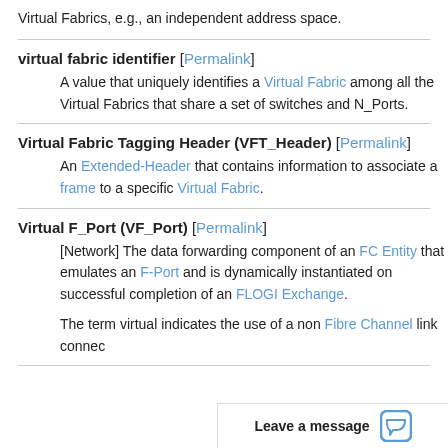Virtual Fabrics, e.g., an independent address space.
virtual fabric identifier [Permalink]
A value that uniquely identifies a Virtual Fabric among all the Virtual Fabrics that share a set of switches and N_Ports.
Virtual Fabric Tagging Header (VFT_Header) [Permalink]
An Extended-Header that contains information to associate a frame to a specific Virtual Fabric.
Virtual F_Port (VF_Port) [Permalink]
[Network] The data forwarding component of an FC Entity that emulates an F-Port and is dynamically instantiated on successful completion of an FLOGI Exchange.
The term virtual indicates the use of a non Fibre Channel link connection. VF_Port with VN_Port...